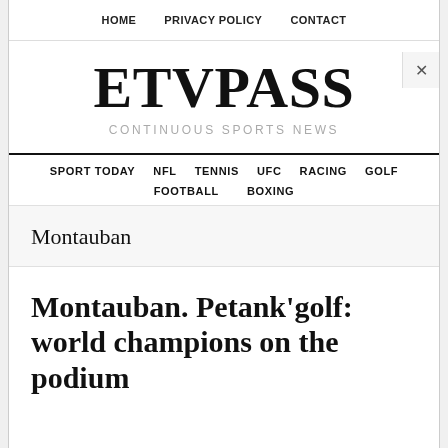HOME   PRIVACY POLICY   CONTACT
ETVPASS
CONTINUOUS SPORTS NEWS
SPORT TODAY   NFL   TENNIS   UFC   RACING   GOLF   FOOTBALL   BOXING
Montauban
Montauban. Petank'golf: world champions on the podium